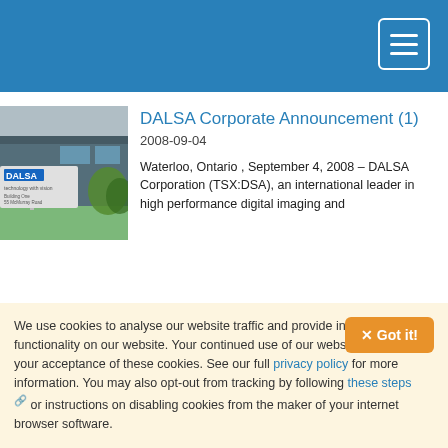DALSA Corporate Announcement (1)
2008-09-04
[Figure (photo): Exterior photo of DALSA building with DALSA sign in foreground, located at Building One, 55 McMurray Road]
Waterloo, Ontario , September 4, 2008 - DALSA Corporation (TSX:DSA), an international leader in high performance digital imaging and
We use cookies to analyse our website traffic and provide interactive functionality on our website. Your continued use of our website indicates your acceptance of these cookies. See our full privacy policy for more information. You may also opt-out from tracking by following these steps or instructions on disabling cookies from the maker of your internet browser software.